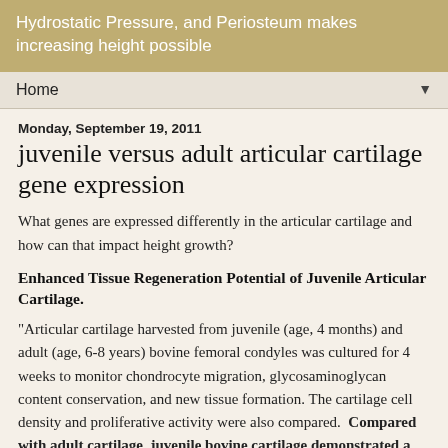Hydrostatic Pressure, and Periosteum makes increasing height possible
Home
Monday, September 19, 2011
juvenile versus adult articular cartilage gene expression
What genes are expressed differently in the articular cartilage and how can that impact height growth?
Enhanced Tissue Regeneration Potential of Juvenile Articular Cartilage.
"Articular cartilage harvested from juvenile (age, 4 months) and adult (age, 6-8 years) bovine femoral condyles was cultured for 4 weeks to monitor chondrocyte migration, glycosaminoglycan content conservation, and new tissue formation. The cartilage cell density and proliferative activity were also compared.  Compared with adult cartilage, juvenile bovine cartilage demonstrated a